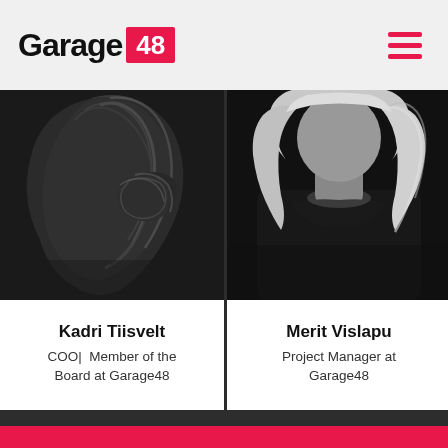Garage 48
[Figure (photo): Black and white close-up photo of a woman with dark wavy hair]
Kadri Tiisvelt
COO | Member of the Board at Garage48
[Figure (photo): Black and white photo of a woman with blonde hair wearing a black top]
Merit Vislapu
Project Manager at Garage48